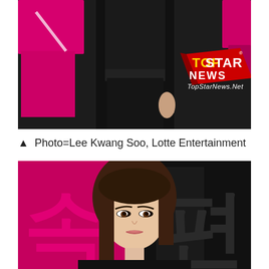[Figure (photo): Photo of a person in all-black outfit at an event with pink background elements and a Top Star News watermark logo overlay]
▲ Photo=Lee Kwang Soo, Lotte Entertainment
[Figure (photo): Photo of a woman with long brown hair at an event with pink and dark background]